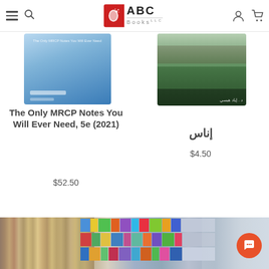ABC Books - navigation header
[Figure (photo): Book cover for 'The Only MRCP Notes You Will Ever Need, 5e (2021)' - blue gradient cover]
The Only MRCP Notes You Will Ever Need, 5e (2021)
$52.50
[Figure (photo): Book cover for 'إناس' - dark green/nature scene cover with Arabic author name]
إناس
$4.50
[Figure (photo): Library interior photo showing bookshelves with colorful books]